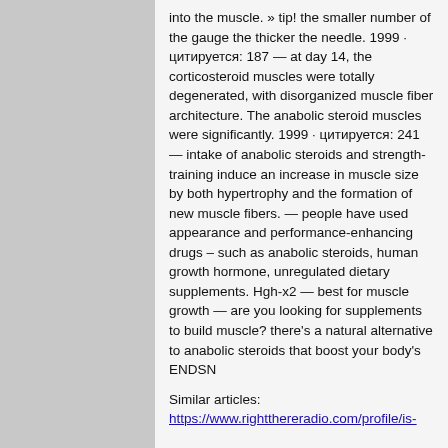into the muscle. » tip! the smaller number of the gauge the thicker the needle. 1999 · цитируется: 187 — at day 14, the corticosteroid muscles were totally degenerated, with disorganized muscle fiber architecture. The anabolic steroid muscles were significantly. 1999 · цитируется: 241 — intake of anabolic steroids and strength-training induce an increase in muscle size by both hypertrophy and the formation of new muscle fibers. — people have used appearance and performance-enhancing drugs – such as anabolic steroids, human growth hormone, unregulated dietary supplements. Hgh-x2 — best for muscle growth — are you looking for supplements to build muscle? there's a natural alternative to anabolic steroids that boost your body's ENDSN
Similar articles:
https://www.rightthereradio.com/profile/is-